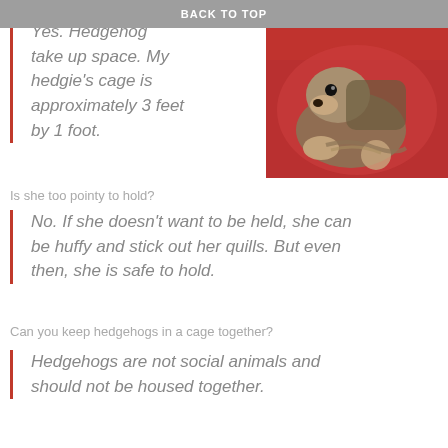BACK TO TOP
[Figure (photo): A small hairless baby hedgehog held against a red fuzzy background]
Yes. Hedgehogs do take up space. My hedgie's cage is approximately 3 feet by 1 foot.
Is she too pointy to hold?
No. If she doesn't want to be held, she can be huffy and stick out her quills. But even then, she is safe to hold.
Can you keep hedgehogs in a cage together?
Hedgehogs are not social animals and should not be housed together.